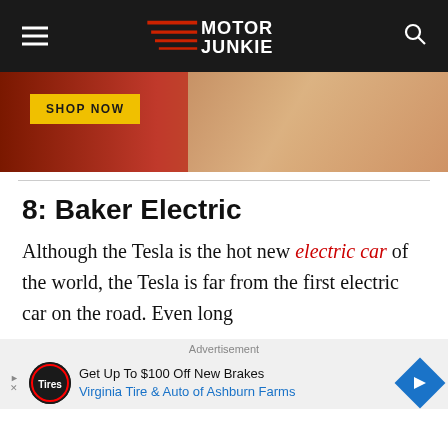Motor Junkie
[Figure (photo): Advertisement banner with 'SHOP NOW' button and a woman with blonde hair on a colored background]
8: Baker Electric
Although the Tesla is the hot new electric car of the world, the Tesla is far from the first electric car on the road. Even long
Advertisement
[Figure (infographic): Advertisement for Virginia Tire & Auto of Ashburn Farms - Get Up To $100 Off New Brakes]